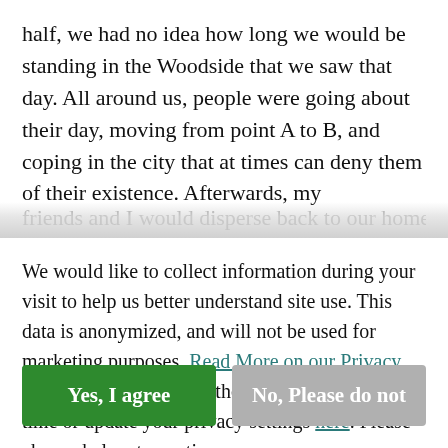half, we had no idea how long we would be standing in the Woodside that we saw that day. All around us, people were going about their day, moving from point A to B, and coping in the city that at times can deny them of their existence. Afterwards, my friends and I would disperse back to our homes
We would like to collect information during your visit to help us better understand site use. This data is anonymized, and will not be used for marketing purposes. Read More on our Privacy Policy page. You can withdraw permission at any time or update your privacy settings here. Please choose below to continue.
Yes, I agree
No, Please do not